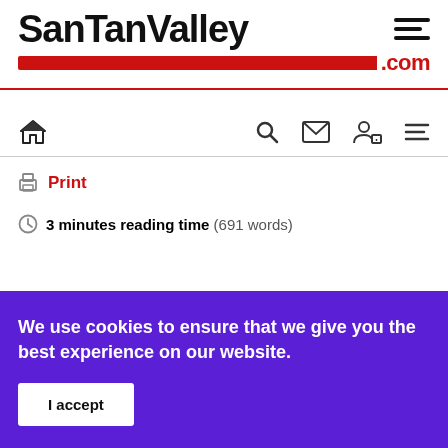[Figure (logo): SanTanValley.com website logo — large bold black text 'SanTanValley' with a red horizontal bar and '.com' in red]
[Figure (infographic): Navigation bar with home icon, search icon, mail icon, user/lock icon, and hamburger menu icon]
Print
3 minutes reading time (691 words)
We use cookies to ensure that we give you the best experience on our website.